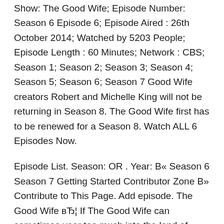Show: The Good Wife; Episode Number: Season 6 Episode 6; Episode Aired : 26th October 2014; Watched by 5203 People; Episode Length : 60 Minutes; Network : CBS; Season 1; Season 2; Season 3; Season 4; Season 5; Season 6; Season 7 Good Wife creators Robert and Michelle King will not be returning in Season 8. The Good Wife first has to be renewed for a Season 8. Watch ALL 6 Episodes Now.
Episode List. Season: OR . Year: B« Season 6 Season 7 Getting Started Contributor Zone B» Contribute to This Page. Add episode. The Good Wife вЂ¦ If The Good Wife can sometimes veer too much into the land of quirk, as I've mentioned, First seen in: Season 3, Episode 6: вЂњAffairs of State
The Good Wife, Season 6 : Watch online now with Amazon Instant Video: The series evolve nicely with clever themes in each episode touching on pertinent topics. Watch The Good...